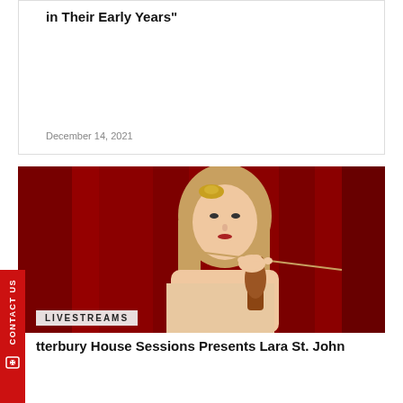in Their Early Years"
December 14, 2021
[Figure (photo): A woman with a gold hair ornament playing a violin against a red curtain background]
LIVESTREAMS
tterbury House Sessions Presents Lara St. John